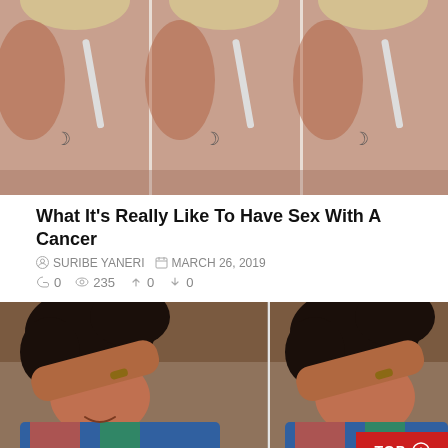[Figure (photo): Triptych of a woman showing her back with a moon tattoo and a white bra strap, blonde short hair, repeated three times side by side]
What It's Really Like To Have Sex With A Cancer
SURIBE YANERI  MARCH 26, 2019
0  235  0  0
[Figure (photo): Two side-by-side photos of a young woman with curly black hair covering her face with her arm, wearing a colorful floral top, smiling. A red 'TOP' button is overlaid in the bottom-right corner.]